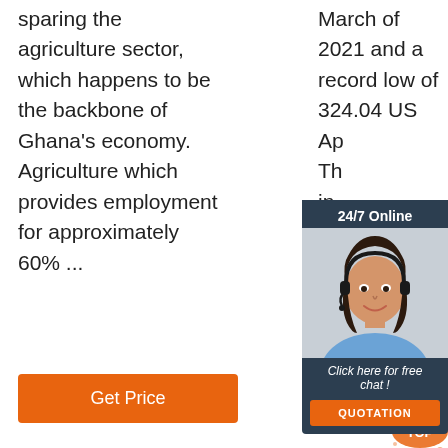sparing the agriculture sector, which happens to be the backbone of Ghana's economy. Agriculture which provides employment for approximately 60% ...
March of 2021 and a record low of 324.04 US... Ap... Th... in... ch... hi... fo... ...
[Figure (other): 24/7 Online chat widget with photo of woman wearing headset and orange QUOTATION button]
Get Price
Get Price
[Figure (other): Orange TOP badge/logo]